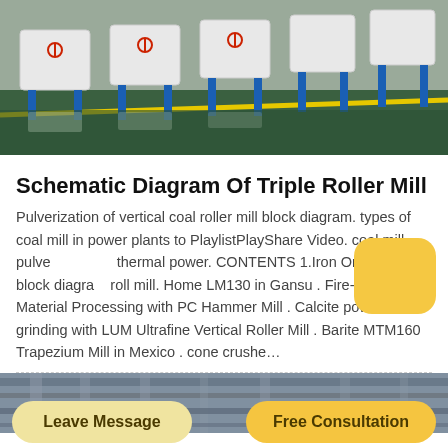[Figure (photo): Industrial facility interior showing large white cylindrical machines on blue stands lined in a row on a green and grey floor with a yellow line stripe]
Schematic Diagram Of Triple Roller Mill
Pulverization of vertical coal roller mill block diagram. types of coal mill in power plants to PlaylistPlayShare Video. coal mill pulve… thermal power. CONTENTS 1.Iron Ore crushing block diagra… roll mill. Home LM130 in Gansu . Fire-proof Material Processing with PC Hammer Mill . Calcite powder grinding with LUM Ultrafine Vertical Roller Mill . Barite MTM160 Trapezium Mill in Mexico . cone crushe…
[Figure (photo): Interior industrial space with metal pipes and structural elements, partial view from bottom of page]
Leave Message
Free Consultation